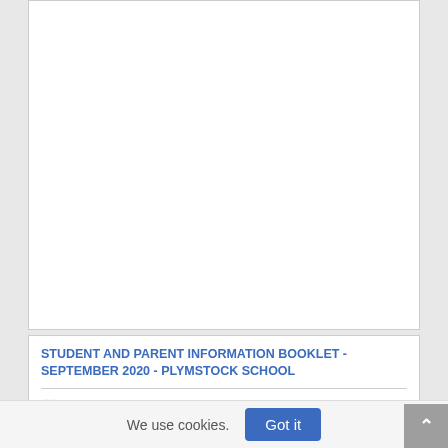[Figure (logo): Partial view of a black stylized logo (appears to be a chevron or wave shape) cut off at the top of the page]
Student and Parent Information Booklet
STUDENT AND PARENT INFORMATION BOOKLET - SEPTEMBER 2020 - PLYMSTOCK SCHOOL
Careers  English